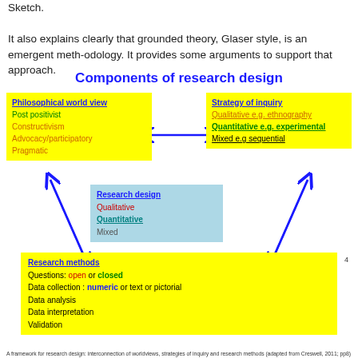Sketch.
It also explains clearly that grounded theory, Glaser style, is an emergent meth-odology. It provides some arguments to support that approach.
Components of research design
[Figure (infographic): Diagram showing components of research design: four boxes (Philosophical world view, Strategy of inquiry, Research design, Research methods) connected by double-headed arrows. Philosophical world view (yellow): Post positivist, Constructivism, Advocacy/participatory, Pragmatic. Strategy of inquiry (yellow): Qualitative e.g. ethnography, Quantitative e.g. experimental, Mixed e.g sequential. Research design (light blue): Qualitative, Quantitative, Mixed. Research methods (yellow): Questions: open or closed, Data collection: numeric or text or pictorial, Data analysis, Data interpretation, Validation.]
A framework for research design: interconnection of worldviews, strategies of inquiry and research methods (adapted from Creswell, 2011; pp8)